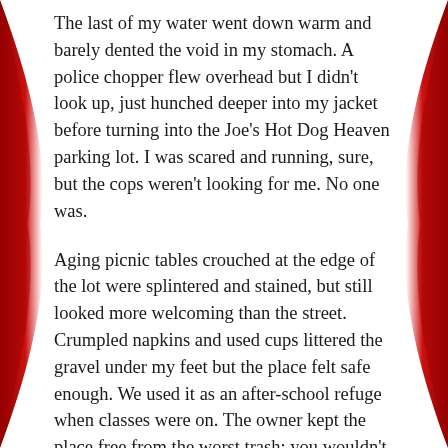The last of my water went down warm and barely dented the void in my stomach. A police chopper flew overhead but I didn't look up, just hunched deeper into my jacket before turning into the Joe's Hot Dog Heaven parking lot. I was scared and running, sure, but the cops weren't looking for me. No one was.
Aging picnic tables crouched at the edge of the lot were splintered and stained, but still looked more welcoming than the street. Crumpled napkins and used cups littered the gravel under my feet but the place felt safe enough. We used it as an after-school refuge when classes were on. The owner kept the place free from the worst trash; you wouldn't step on a needle here. I needed shelter and this place, surrounded by dust and wild day lilies, was as close as I would get. Settling against the shaded wall at